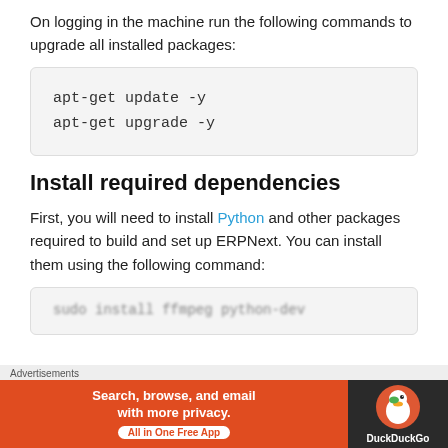On logging in the machine run the following commands to upgrade all installed packages:
apt-get update -y
apt-get upgrade -y
Install required dependencies
First, you will need to install Python and other packages required to build and set up ERPNext. You can install them using the following command:
[code block, partially visible/blurred]
Advertisements
Search, browse, and email with more privacy. All in One Free App